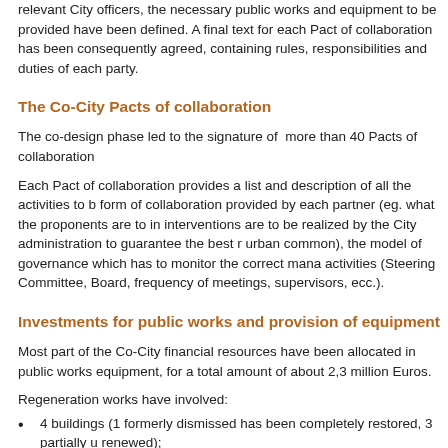relevant City officers, the necessary public works and equipment to be provided have been defined. A final text for each Pact of collaboration has been consequently agreed, containing rules, responsibilities and duties of each party.
The Co-City Pacts of collaboration
The co-design phase led to the signature of more than 40 Pacts of collaboration
Each Pact of collaboration provides a list and description of all the activities to be form of collaboration provided by each partner (eg. what the proponents are to in interventions are to be realized by the City administration to guarantee the best r urban common), the model of governance which has to monitor the correct mana activities (Steering Committee, Board, frequency of meetings, supervisors, ecc.).
Investments for public works and provision of equipment
Most part of the Co-City financial resources have been allocated in public works equipment, for a total amount of about 2,3 million Euros.
Regeneration works have involved:
4 buildings (1 formerly dismissed has been completely restored, 3 partially u renewed);
6 schools esp. for the renewal of courtyards;
8 Pacts belonging to measure C, for maintenance and renovation of public s